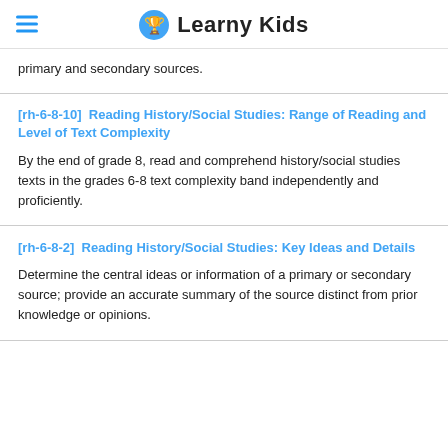Learny Kids
primary and secondary sources.
[rh-6-8-10]  Reading History/Social Studies: Range of Reading and Level of Text Complexity
By the end of grade 8, read and comprehend history/social studies texts in the grades 6-8 text complexity band independently and proficiently.
[rh-6-8-2]  Reading History/Social Studies: Key Ideas and Details
Determine the central ideas or information of a primary or secondary source; provide an accurate summary of the source distinct from prior knowledge or opinions.